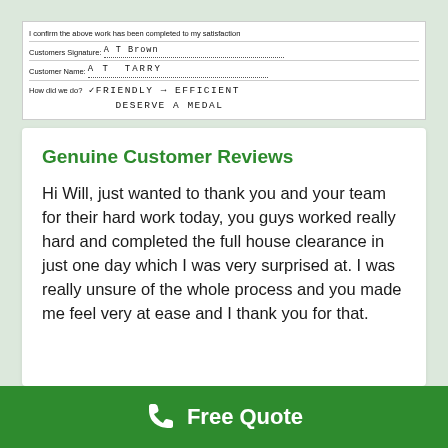[Figure (photo): A handwritten customer satisfaction form. Text reads: 'I confirm the above work has been completed to my satisfaction. Customers Signature: A T Brown. Customer Name: A T TARRY. How did we do? VERY FRIENDLY + EFFICIENT DESERVE A MEDAL']
Genuine Customer Reviews
Hi Will, just wanted to thank you and your team for their hard work today, you guys worked really hard and completed the full house clearance in just one day which I was very surprised at. I was really unsure of the whole process and you made me feel very at ease and I thank you for that.
Free Quote